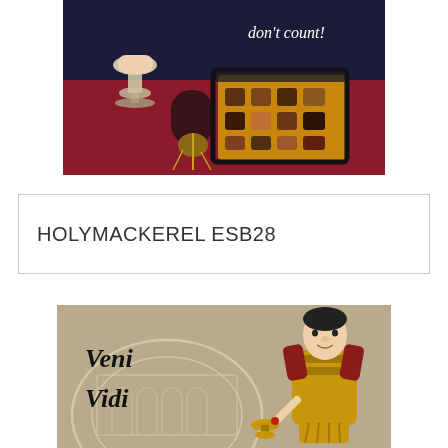[Figure (photo): A photo showing a person in a red/burgundy outfit holding a white wine glass, with a box of assorted chocolates. Text in white cursive reads 'don't count!' on a dark background.]
HOLYMACKEREL ESB28
[Figure (photo): An image with a tan/olive background featuring a Roman Colosseum outline, italic black text reading 'Veni Vidi', and a clay/figurine Roman soldier character in gold armor holding a goblet.]